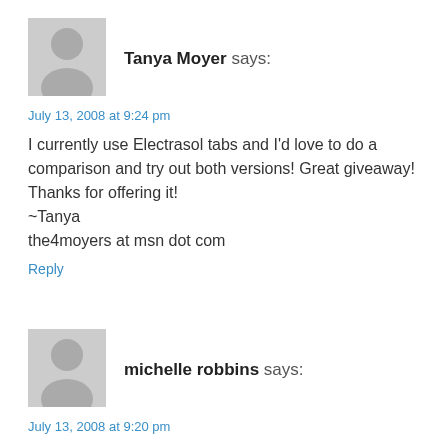[Figure (illustration): Gray placeholder avatar silhouette for user Tanya Moyer]
Tanya Moyer says:
July 13, 2008 at 9:24 pm
I currently use Electrasol tabs and I'd love to do a comparison and try out both versions! Great giveaway! Thanks for offering it!
~Tanya
the4moyers at msn dot com
Reply
[Figure (illustration): Gray placeholder avatar silhouette for user michelle robbins]
michelle robbins says:
July 13, 2008 at 9:20 pm
I've usually used the cheaper brands, but would like to